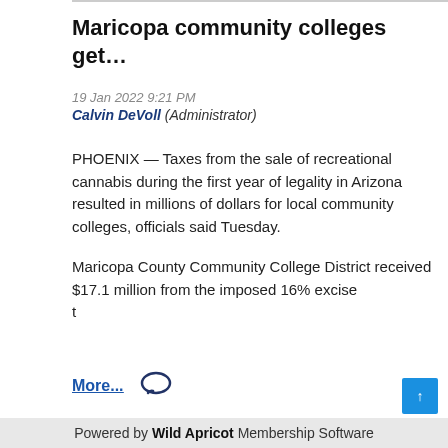Maricopa community colleges get…
19 Jan 2022 9:21 PM
Calvin DeVoll (Administrator)
PHOENIX — Taxes from the sale of recreational cannabis during the first year of legality in Arizona resulted in millions of dollars for local community colleges, officials said Tuesday.
Maricopa County Community College District received $17.1 million from the imposed 16% excise t…
More…
Powered by Wild Apricot Membership Software